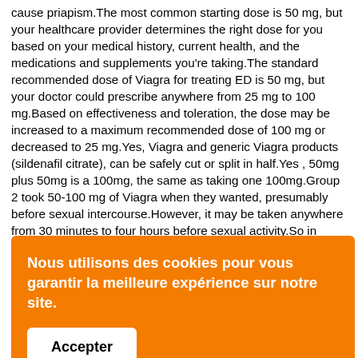cause priapism.The most common starting dose is 50 mg, but your healthcare provider determines the right dose for you based on your medical history, current health, and the medications and supplements you're taking.The standard recommended dose of Viagra for treating ED is 50 mg, but your doctor could prescribe anywhere from 25 mg to 100 mg.Based on effectiveness and toleration, the dose may be increased to a maximum recommended dose of 100 mg or decreased to 25 mg.Yes, Viagra and generic Viagra products (sildenafil citrate), can be safely cut or split in half.Yes , 50mg plus 50mg is a 100mg, the same as taking one 100mg.Group 2 took 50-100 mg of Viagra when they wanted, presumably before sexual intercourse.However, it may be taken anywhere from 30 minutes to four hours before sexual activity.So in conclusion I can say that you can take Viagra even if you are taking losartin 25mg.Do not take Viagra more than once daily.During the two weeks I spent taking Viagra, I couldn't help but notice that my erections felt harder, fuller, and more abiding over the
[Figure (screenshot): Orange cookie consent banner with French text 'Nous utilisons des cookies pour vous garantir la meilleure expérience sur notre site.' and an 'Accepter' button.]
online.The 50-mg dose is standard, though some doctors start patients